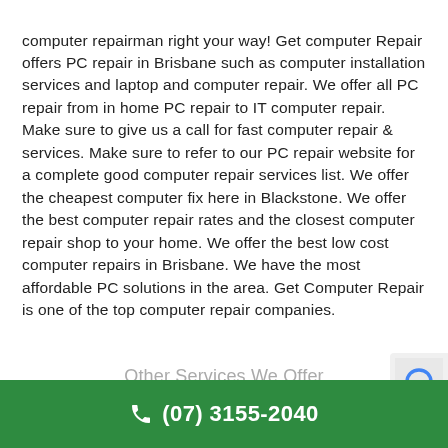computer repairman right your way! Get computer Repair offers PC repair in Brisbane such as computer installation services and laptop and computer repair. We offer all PC repair from in home PC repair to IT computer repair. Make sure to give us a call for fast computer repair & services. Make sure to refer to our PC repair website for a complete good computer repair services list. We offer the cheapest computer fix here in Blackstone. We offer the best computer repair rates and the closest computer repair shop to your home. We offer the best low cost computer repairs in Brisbane. We have the most affordable PC solutions in the area. Get Computer Repair is one of the top computer repair companies.
Other Services We Offer
(07) 3155-2040